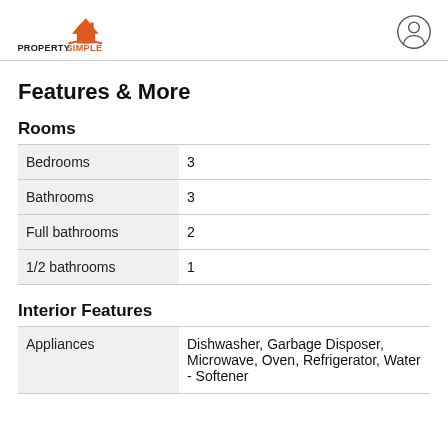PROPERTY SIMPLE
Features & More
Rooms
|  |  |
| --- | --- |
| Bedrooms | 3 |
| Bathrooms | 3 |
| Full bathrooms | 2 |
| 1/2 bathrooms | 1 |
Interior Features
|  |  |
| --- | --- |
| Appliances | Dishwasher, Garbage Disposer, Microwave, Oven, Refrigerator, Water - Softener |